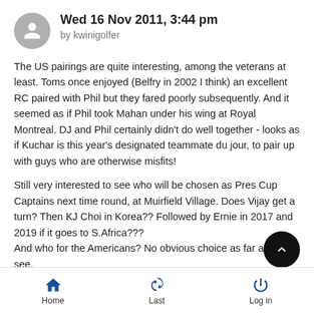Wed 16 Nov 2011, 3:44 pm by kwinigolfer
The US pairings are quite interesting, among the veterans at least. Toms once enjoyed (Belfry in 2002 I think) an excellent RC paired with Phil but they fared poorly subsequently. And it seemed as if Phil took Mahan under his wing at Royal Montreal. DJ and Phil certainly didn't do well together - looks as if Kuchar is this year's designated teammate du jour, to pair up with guys who are otherwise misfits!
Still very interested to see who will be chosen as Pres Cup Captains next time round, at Muirfield Village. Does Vijay get a turn? Then KJ Choi in Korea?? Followed by Ernie in 2017 and 2019 if it goes to S.Africa??? And who for the Americans? No obvious choice as far as I can see.
Home  Last  Log in